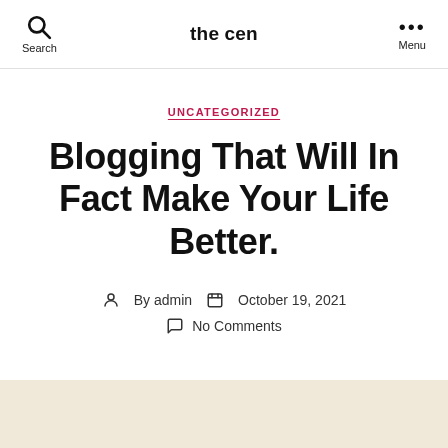the cen
UNCATEGORIZED
Blogging That Will In Fact Make Your Life Better.
By admin  October 19, 2021  No Comments